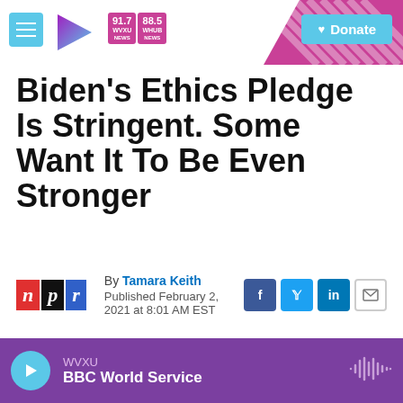[Figure (logo): WVXU NPR radio station header with hamburger menu, play-arrow logo, 91.7 WVXU NEWS and 88.5 WHUB NEWS frequency badges, diagonal stripe background, and cyan Donate button]
Biden's Ethics Pledge Is Stringent. Some Want It To Be Even Stronger
By Tamara Keith
Published February 2, 2021 at 8:01 AM EST
[Figure (logo): NPR logo with red N, black P, blue R tiles; social share icons for Facebook, Twitter, LinkedIn, and Email]
LISTEN • 4:12
WVXU
BBC World Service